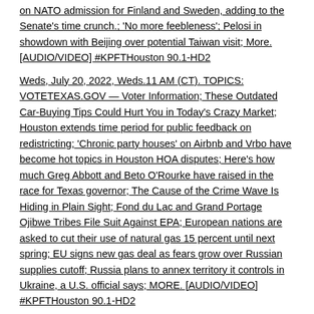on NATO admission for Finland and Sweden, adding to the Senate's time crunch.; 'No more feebleness'; Pelosi in showdown with Beijing over potential Taiwan visit; More. [AUDIO/VIDEO] #KPFTHouston 90.1-HD2
Weds, July 20, 2022, Weds.11 AM (CT). TOPICS: VOTETEXAS.GOV — Voter Information; These Outdated Car-Buying Tips Could Hurt You in Today's Crazy Market; Houston extends time period for public feedback on redistricting; 'Chronic party houses' on Airbnb and Vrbo have become hot topics in Houston HOA disputes; Here's how much Greg Abbott and Beto O'Rourke have raised in the race for Texas governor; The Cause of the Crime Wave Is Hiding in Plain Sight; Fond du Lac and Grand Portage Ojibwe Tribes File Suit Against EPA; European nations are asked to cut their use of natural gas 15 percent until next spring; EU signs new gas deal as fears grow over Russian supplies cutoff; Russia plans to annex territory it controls in Ukraine, a U.S. official says; MORE. [AUDIO/VIDEO] #KPFTHouston 90.1-HD2
Weds, July 6, 2022, Weds.11 AM (CT). TOPICS: VOTETEXAS.GOV — Voter Information; Number of monkeypox cases reported in